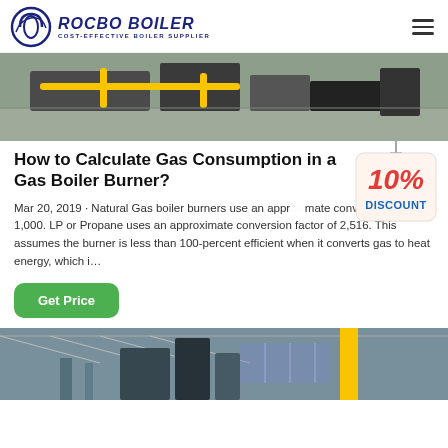ROCBO BOILER — COST-EFFECTIVE BOILER SUPPLIER
[Figure (photo): Industrial gas boiler burner equipment on a factory floor with yellow pipes and black frames]
How to Calculate Gas Consumption in a Gas Boiler Burner?
[Figure (illustration): 10% DISCOUNT badge hanging sign in red and blue]
Mar 20, 2019 · Natural Gas boiler burners use an approximate conversion factor of 1,000. LP or Propane uses an approximate conversion factor of 2,516. This assumes the burner is less than 100-percent efficient when it converts gas to heat energy, which i…
Get Price
[Figure (photo): Industrial boiler facility interior with structural steel, large boiler equipment, and yellow crane column]